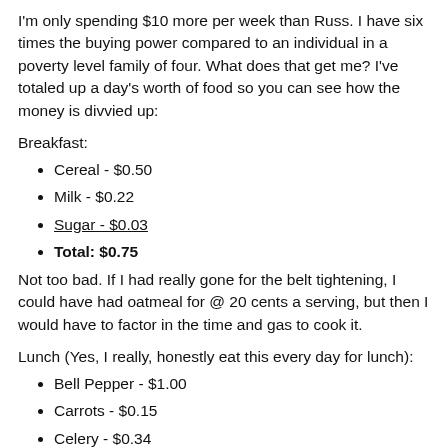I'm only spending $10 more per week than Russ. I have six times the buying power compared to an individual in a poverty level family of four. What does that get me? I've totaled up a day's worth of food so you can see how the money is divvied up:
Breakfast:
Cereal - $0.50
Milk - $0.22
Sugar - $0.03
Total: $0.75
Not too bad. If I had really gone for the belt tightening, I could have had oatmeal for @ 20 cents a serving, but then I would have to factor in the time and gas to cook it.
Lunch (Yes, I really, honestly eat this every day for lunch):
Bell Pepper - $1.00
Carrots - $0.15
Celery - $0.34